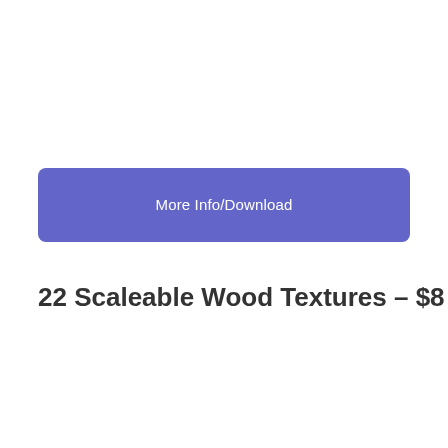[Figure (other): A purple/blue rounded rectangle button labeled 'More Info/Download' in white text]
22 Scaleable Wood Textures – $8